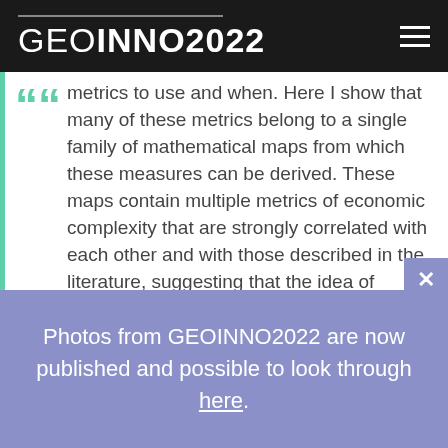GEOINNO2022
metrics to use and when. Here I show that many of these metrics belong to a single family of mathematical maps from which these measures can be derived. These maps contain multiple metrics of economic complexity that are strongly correlated with each other and with those described in the literature, suggesting that the idea of measuring the complexity of economies using iterative mappings, or the spectra of matrices connecting related economies or activities, is a much more robust phenomena than
Photos from GEOINNO2022 are now published and possible to look through here.